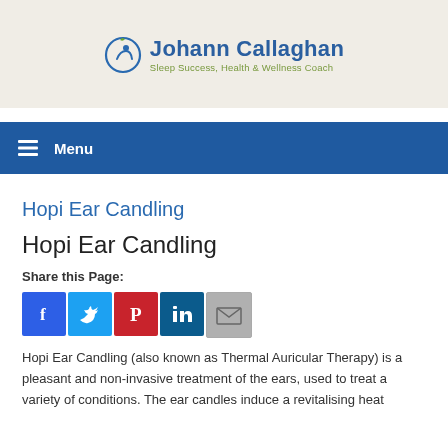[Figure (logo): Johann Callaghan logo with circular icon and text 'Johann Callaghan, Sleep Success, Health & Wellness Coach']
Menu
Hopi Ear Candling
Hopi Ear Candling
Share this Page:
[Figure (infographic): Social media share buttons: Facebook, Twitter, Pinterest, LinkedIn, Email]
Hopi Ear Candling (also known as Thermal Auricular Therapy) is a pleasant and non-invasive treatment of the ears, used to treat a variety of conditions. The ear candles induce a revitalising heat